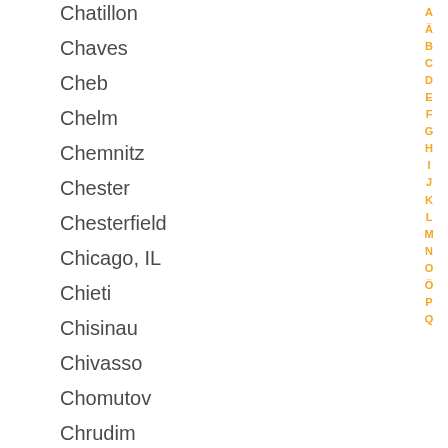Chatillon
Chaves
Cheb
Chelm
Chemnitz
Chester
Chesterfield
Chicago, IL
Chieti
Chisinau
Chivasso
Chomutov
Chrudim
Chrzanow
Chur
Ci...